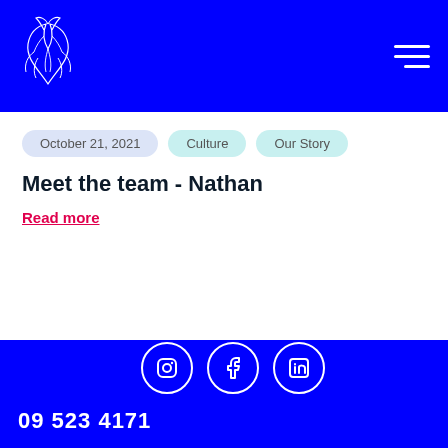[Figure (logo): White line-art phoenix/bird logo on blue background]
October 21, 2021
Culture
Our Story
Meet the team - Nathan
Read more
09 523 4171